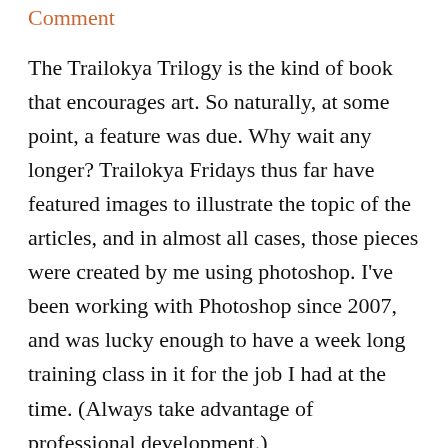Comment
The Trailokya Trilogy is the kind of book that encourages art. So naturally, at some point, a feature was due. Why wait any longer? Trailokya Fridays thus far have featured images to illustrate the topic of the articles, and in almost all cases, those pieces were created by me using photoshop. I've been working with Photoshop since 2007, and was lucky enough to have a week long training class in it for the job I had at the time. (Always take advantage of professional development.)
My skills are still growing, and there are functions I need to refresh myself on, but